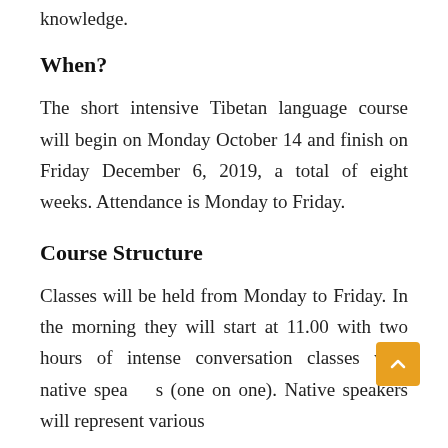knowledge.
When?
The short intensive Tibetan language course will begin on Monday October 14 and finish on Friday December 6, 2019, a total of eight weeks. Attendance is Monday to Friday.
Course Structure
Classes will be held from Monday to Friday. In the morning they will start at 11.00 with two hours of intense conversation classes with native speakers (one on one). Native speakers will represent various